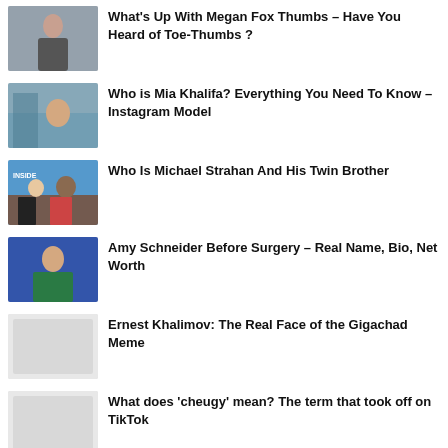What's Up With Megan Fox Thumbs – Have You Heard of Toe-Thumbs ?
Who is Mia Khalifa? Everything You Need To Know – Instagram Model
Who Is Michael Strahan And His Twin Brother
Amy Schneider Before Surgery – Real Name, Bio, Net Worth
Ernest Khalimov: The Real Face of the Gigachad Meme
What does 'cheugy' mean? The term that took off on TikTok